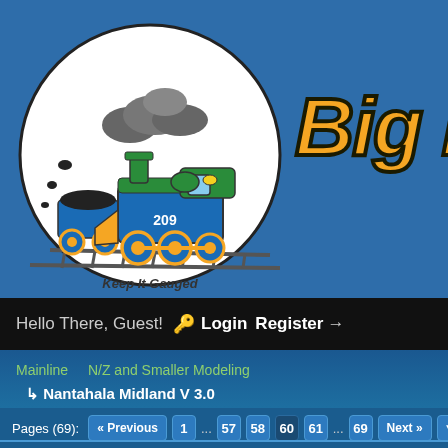[Figure (logo): Cartoon train locomotive (blue, green, numbered 209) with coal tender, puffing gray smoke, inside a white circle. Text 'Keep It Gauged' at bottom of circle. This is the site logo for a model train forum.]
Big B
Hello There, Guest!  Login  Register
Mainline   N/Z and Smaller Modeling
Nantahala Midland V 3.0
Pages (69):  « Previous  1  ...  57  58  60  61  ...  69  Next »